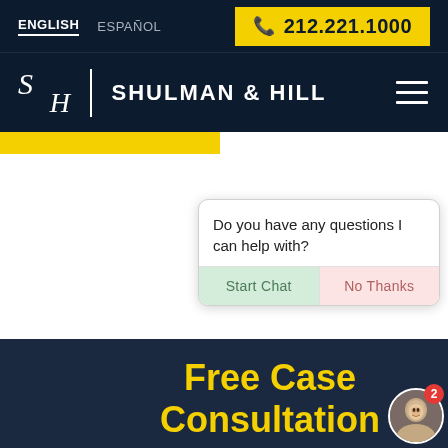ENGLISH  ESPAÑOL  📞 212.221.1000
[Figure (logo): Shulman & Hill law firm logo with S/H monogram and firm name]
Do you have any questions I can help with?
Start Chat  No Thanks
Free Case Consultation